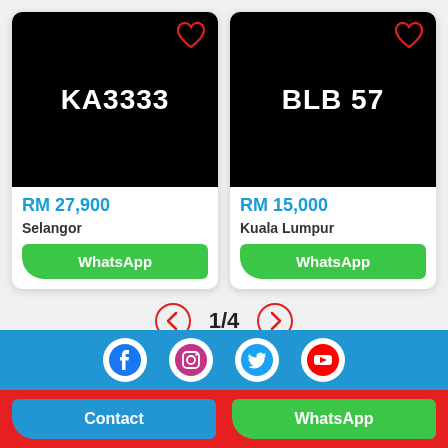[Figure (screenshot): Product card for license plate KA3333 - black background with white bold text, red heart icon top right, price RM 27,900 in blue, location Selangor, green WhatsApp button]
[Figure (screenshot): Product card for license plate BLB 57 - black background with white bold text, red heart icon top right, price RM 15,000 in blue, location Kuala Lumpur, green WhatsApp button]
1/4
[Figure (infographic): Blue footer bar with four white social media icons: Facebook, Instagram, Twitter, YouTube]
[Figure (infographic): Red bottom bar with blue Contact button and green WhatsApp button]